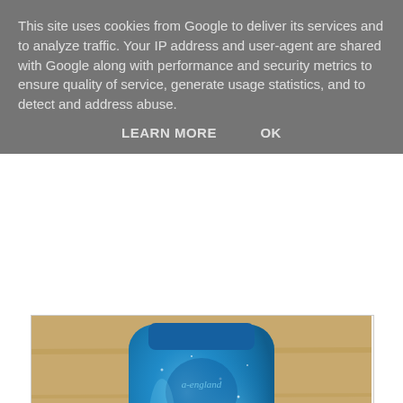This site uses cookies from Google to deliver its services and to analyze traffic. Your IP address and user-agent are shared with Google along with performance and security metrics to ensure quality of service, generate usage statistics, and to detect and address abuse.
LEARN MORE   OK
[Figure (photo): A bottle of A-England nail polish in a shimmery blue color called 'Whispering Waves', photographed on a wooden surface, viewed from above showing the top of the bottle.]
A-England 'Whispering Waves' @acertainbeccaa
Next is 'Gloriana', a rich red full of gold flakes. Unfortunately I already have this but somehow still haven't tried it! It looks gorgeous none the less (very 'fireball-y'), and now I have no